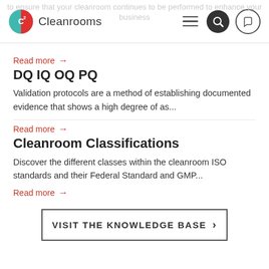C2 Cleanrooms
Read more →
DQ IQ OQ PQ
Validation protocols are a method of establishing documented evidence that shows a high degree of as...
Read more →
Cleanroom Classifications
Discover the different classes within the cleanroom ISO standards and their Federal Standard and GMP...
Read more →
VISIT THE KNOWLEDGE BASE >